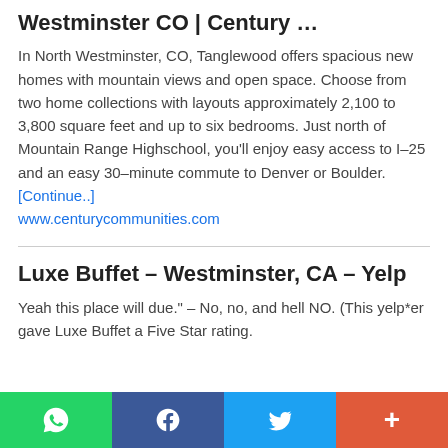Westminster CO | Century …
In North Westminster, CO, Tanglewood offers spacious new homes with mountain views and open space. Choose from two home collections with layouts approximately 2,100 to 3,800 square feet and up to six bedrooms. Just north of Mountain Range Highschool, you'll enjoy easy access to I–25 and an easy 30–minute commute to Denver or Boulder. [Continue..] www.centurycommunities.com
Luxe Buffet – Westminster, CA – Yelp
Yeah this place will due." – No, no, and hell NO. (This yelp*er gave Luxe Buffet a Five Star rating.